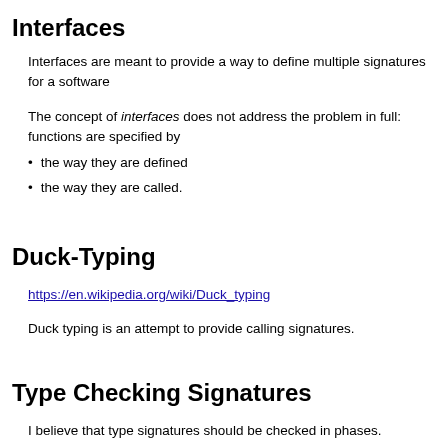Interfaces
Interfaces are meant to provide a way to define multiple signatures for a software
The concept of interfaces does not address the problem in full: functions are specified by
the way they are defined
the way they are called.
Duck-Typing
https://en.wikipedia.org/wiki/Duck_typing
Duck typing is an attempt to provide calling signatures.
Type Checking Signatures
I believe that type signatures should be checked in phases.
For example,